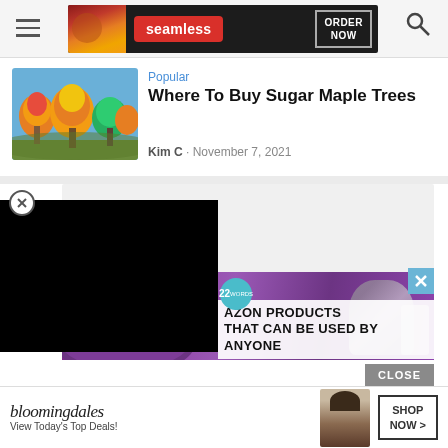[Figure (screenshot): Website screenshot showing navigation bar with hamburger menu and search icon, a Seamless food delivery banner ad at top, an article card for 'Where To Buy Sugar Maple Trees' with a fall foliage thumbnail, a video player overlay, an Amazon products ad overlay, a Bloomingdales bottom banner ad, and a CLOSE button.]
Popular
Where To Buy Sugar Maple Trees
Kim C  ·  November 7, 2021
AZON PRODUCTS THAT CAN BE USED BY ANYONE
CLOSE
bloomingdales
View Today's Top Deals!
SHOP NOW >